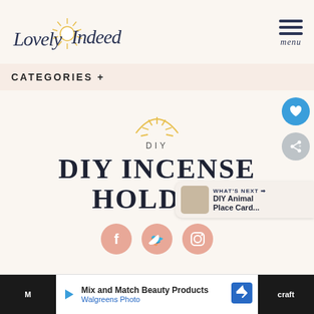[Figure (logo): Lovely Indeed logo with script text and sun illustration]
CATEGORIES +
[Figure (illustration): Half-sun rays illustration in gold]
DIY
DIY INCENSE HOLDER
[Figure (illustration): Social share icons: Facebook, Twitter, Pinterest in peach circles]
WHAT'S NEXT → DIY Animal Place Card...
Mix and Match Beauty Products Walgreens Photo